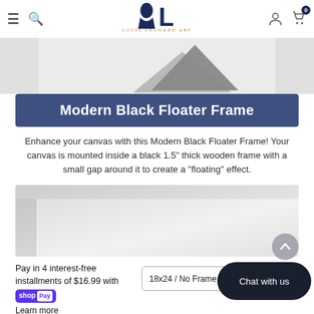Louis Leonard Art navigation bar with hamburger menu, search, logo, user icon, and cart (0)
[Figure (photo): Partial product image showing a canvas with a dark gray diamond/triangle shape at bottom center, on a light gray background]
Modern Black Floater Frame
Enhance your canvas with this Modern Black Floater Frame! Your canvas is mounted inside a black 1.5" thick wooden frame with a small gap around it to create a "floating" effect.
[Figure (photo): Product image of a white/light gray canvas with black floater frame, showing the floating gap effect]
Pay in 4 interest-free installments of $16.99 with shop Pay Learn more
18x24 / No Frame -
Chat with us